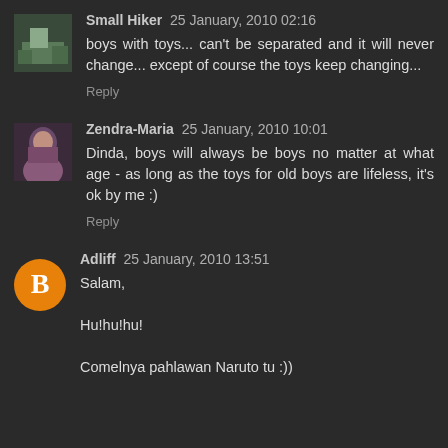Small Hiker 25 January, 2010 02:16
boys with toys... can't be separated and it will never change... except of course the toys keep changing...
Reply
Zendra-Maria 25 January, 2010 10:01
Dinda, boys will always be boys no matter at what age - as long as the toys for old boys are lifeless, it's ok by me :)
Reply
Adliff 25 January, 2010 13:51
Salam,

Hu!hu!hu!

Comelnya pahlawan Naruto tu :))